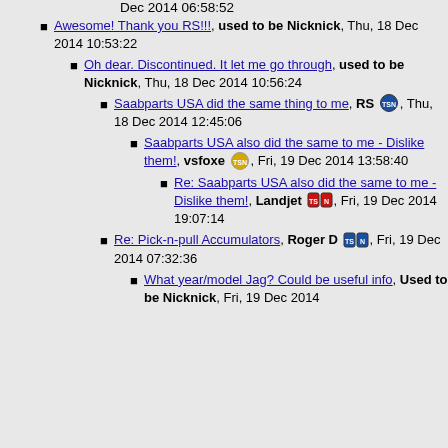Dec 2014 06:58:52
Awesome! Thank you RS!!!, used to be Nicknick, Thu, 18 Dec 2014 10:53:22
Oh dear. Discontinued. It let me go through, used to be Nicknick, Thu, 18 Dec 2014 10:56:24
Saabparts USA did the same thing to me, RS [badge], Thu, 18 Dec 2014 12:45:06
Saabparts USA also did the same to me - Dislike them!, vsfoxe [badge], Fri, 19 Dec 2014 13:58:40
Re: Saabparts USA also did the same to me - Dislike them!, Landjet [badge], Fri, 19 Dec 2014 19:07:14
Re: Pick-n-pull Accumulators, Roger D [badge], Fri, 19 Dec 2014 07:32:36
What year/model Jag? Could be useful info, Used to be Nicknick, Fri, 19 Dec 2014